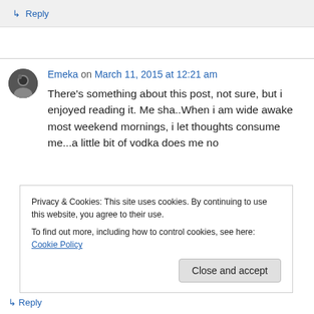↳ Reply
Emeka on March 11, 2015 at 12:21 am
There's something about this post, not sure, but i enjoyed reading it. Me sha..When i am wide awake most weekend mornings, i let thoughts consume me...a little bit of vodka does me no
Privacy & Cookies: This site uses cookies. By continuing to use this website, you agree to their use.
To find out more, including how to control cookies, see here: Cookie Policy
Close and accept
↳ Reply